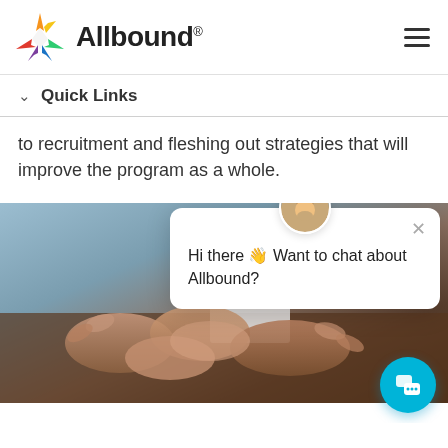[Figure (logo): Allbound logo with multicolor star and bold text 'Allbound®']
Quick Links
to recruitment and fleshing out strategies that will improve the program as a whole.
[Figure (photo): Hands joined together on a wooden table, teamwork concept photo]
Hi there 👋 Want to chat about Allbound?